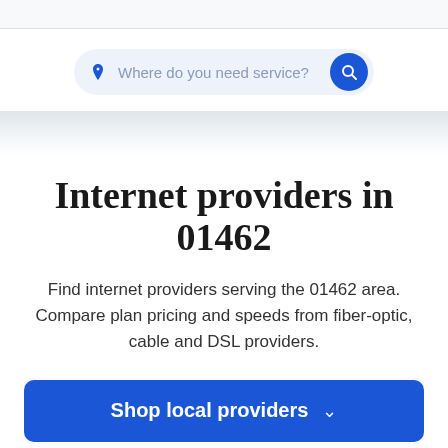[Figure (other): Search bar with location pin icon, placeholder text 'Where do you need service?' and a blue circular search button]
Internet providers in 01462
Find internet providers serving the 01462 area. Compare plan pricing and speeds from fiber-optic, cable and DSL providers.
Shop local providers